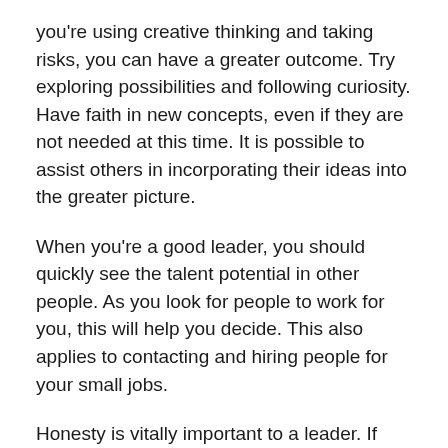you're using creative thinking and taking risks, you can have a greater outcome. Try exploring possibilities and following curiosity. Have faith in new concepts, even if they are not needed at this time. It is possible to assist others in incorporating their ideas into the greater picture.
When you're a good leader, you should quickly see the talent potential in other people. As you look for people to work for you, this will help you decide. This also applies to contacting and hiring people for your small jobs.
Honesty is vitally important to a leader. If your team doesn't trust you, they won't work well for you either. As you start working towards being a better leader, you should always work towards showing people how trustworthy and honest you are. When people are ware that they can rely and trust you, they can eventually